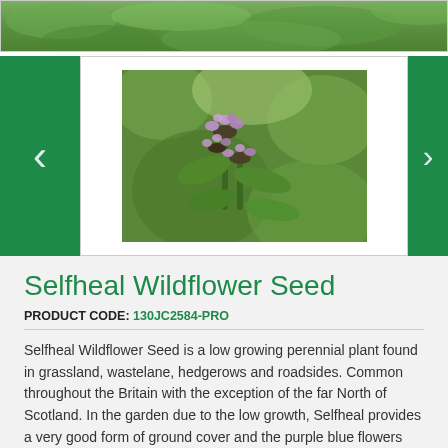[Figure (photo): Top banner showing green foliage/plant background image cropped at top of page]
[Figure (photo): Carousel image of Selfheal wildflower plant with small purple/lavender flowers and green leaves on bokeh background, with green left and right navigation arrows]
Selfheal Wildflower Seed
PRODUCT CODE: 130JC2584-PRO
Selfheal Wildflower Seed is a low growing perennial plant found in grassland, wastelane, hedgerows and roadsides. Common throughout the Britain with the exception of the far North of Scotland. In the garden due to the low growth, Selfheal provides a very good form of ground cover and the purple blue flowers are very attractive.